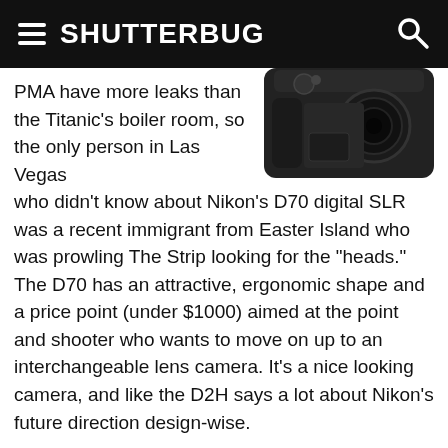SHUTTERBUG
[Figure (photo): Nikon D70 digital SLR camera, top-down angled view, black body]
PMA have more leaks than the Titanic's boiler room, so the only person in Las Vegas who didn't know about Nikon's D70 digital SLR was a recent immigrant from Easter Island who was prowling The Strip looking for the "heads." The D70 has an attractive, ergonomic shape and a price point (under $1000) aimed at the point and shooter who wants to move on up to an interchangeable lens camera. It's a nice looking camera, and like the D2H says a lot about Nikon's future direction design-wise.
The D70 delivers 6 megapixels using the same chip